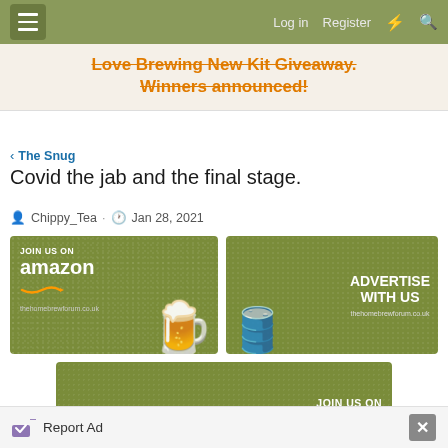≡  Log in  Register  ⚡  🔍
Love Brewing New Kit Giveaway. Winners announced!
< The Snug
Covid the jab and the final stage.
Chippy_Tea · Jan 28, 2021
[Figure (screenshot): Amazon ad banner: JOIN US ON amazon thehomebrewforum.co.uk with beer mug illustration]
[Figure (screenshot): ADVERTISE WITH US banner with wooden barrel and wheat illustration, thehomebrewforum.co.uk]
[Figure (screenshot): JOIN US ON ebay banner with beer mugs illustration]
Report Ad